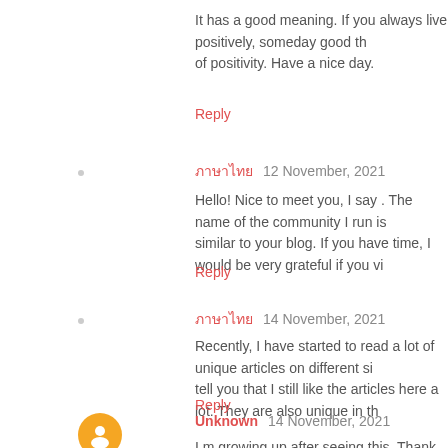It has a good meaning. If you always live positively, someday good things will come because of positivity. Have a nice day.
Reply
ภาษาไทย  12 November, 2021
Hello! Nice to meet you, I say . The name of the community I run is similar to your blog. If you have time, I would be very grateful if you vi...
Reply
ภาษาไทย  14 November, 2021
Recently, I have started to read a lot of unique articles on different sites and tell you that I still like the articles here a lot. They are also unique in th...
Reply
Unknown  14 November, 2021
I m growing up after seeing this. Thank you. I'll visit you every day.